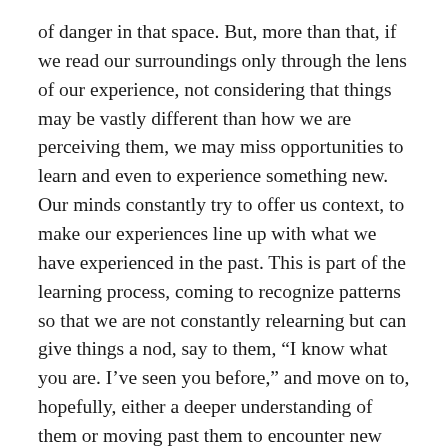of danger in that space. But, more than that, if we read our surroundings only through the lens of our experience, not considering that things may be vastly different than how we are perceiving them, we may miss opportunities to learn and even to experience something new. Our minds constantly try to offer us context, to make our experiences line up with what we have experienced in the past. This is part of the learning process, coming to recognize patterns so that we are not constantly relearning but can give things a nod, say to them, “I know what you are. I’ve seen you before,” and move on to, hopefully, either a deeper understanding of them or moving past them to encounter new material.